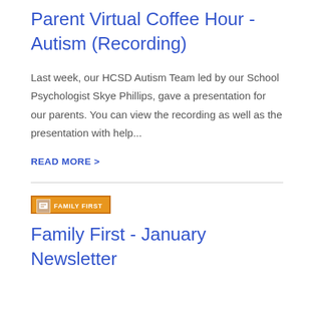Parent Virtual Coffee Hour - Autism (Recording)
Last week, our HCSD Autism Team led by our School Psychologist Skye Phillips, gave a presentation for our parents. You can view the recording as well as the presentation with help...
READ MORE >
[Figure (logo): Family First badge/logo — orange rectangular banner with white icon and 'FAMILY FIRST' text in white]
Family First - January Newsletter